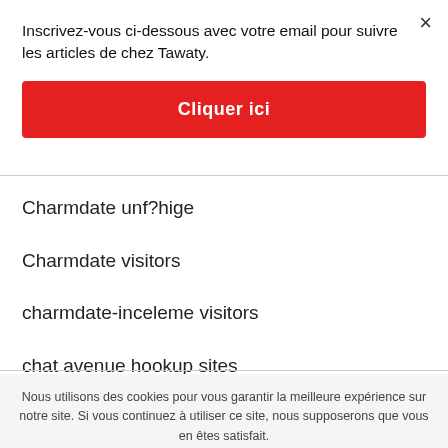Inscrivez-vous ci-dessous avec votre email pour suivre les articles de chez Tawaty.
×
Cliquer ici
Charmdate unf?hige
Charmdate visitors
charmdate-inceleme visitors
chat avenue hookup sites
Nous utilisons des cookies pour vous garantir la meilleure expérience sur notre site. Si vous continuez à utiliser ce site, nous supposerons que vous en êtes satisfait.
D'ACCORD